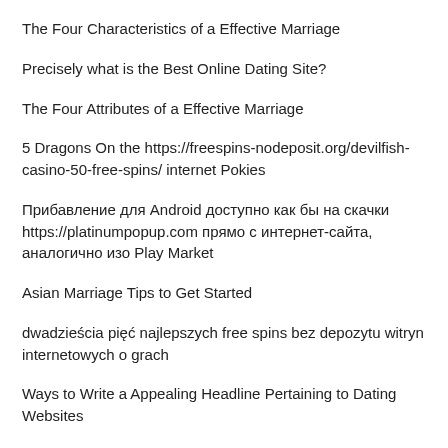The Four Characteristics of a Effective Marriage
Precisely what is the Best Online Dating Site?
The Four Attributes of a Effective Marriage
5 Dragons On the https://freespins-nodeposit.org/devilfish-casino-50-free-spins/ internet Pokies
Прибавление для Android доступно как бы на скачки https://platinumpopup.com прямо с интернет-сайта, аналогично изо Play Market
Asian Marriage Tips to Get Started
dwadzieścia pięć najlepszych free spins bez depozytu witryn internetowych o grach
Ways to Write a Appealing Headline Pertaining to Dating Websites